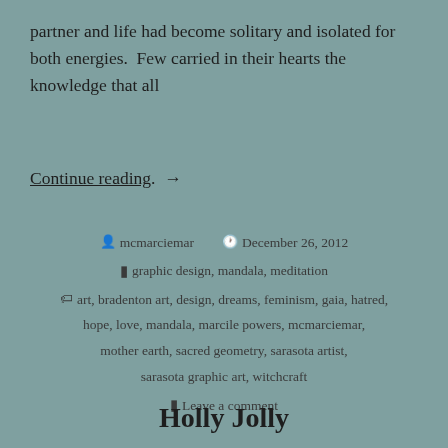partner and life had become solitary and isolated for both energies.  Few carried in their hearts the knowledge that all
Continue reading.  →
Author: mcmarciemar  Date: December 26, 2012  Categories: graphic design, mandala, meditation  Tags: art, bradenton art, design, dreams, feminism, gaia, hatred, hope, love, mandala, marcile powers, mcmarciemar, mother earth, sacred geometry, sarasota artist, sarasota graphic art, witchcraft  Leave a comment
Holly Jolly